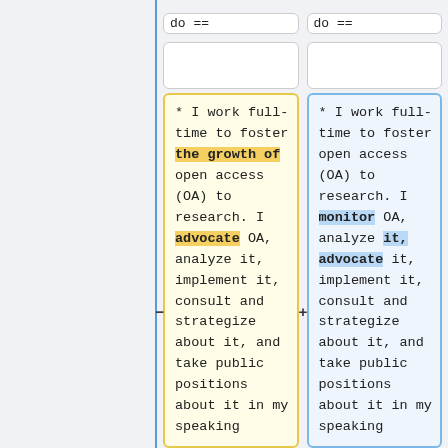do ==
do ==
* I work full-time to foster the growth of open access (OA) to research. I advocate OA, analyze it, implement it, consult and strategize about it, and take public positions about it in my speaking
* I work full-time to foster open access (OA) to research. I monitor OA, analyze it, advocate it, implement it, consult and strategize about it, and take public positions about it in my speaking